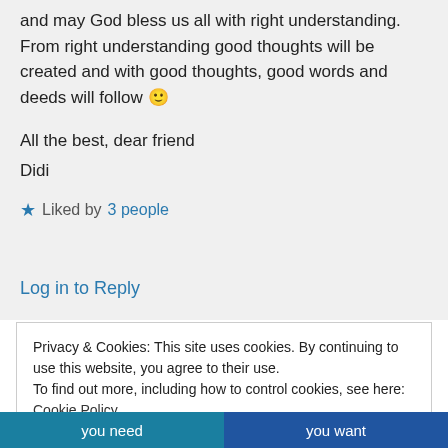and may God bless us all with right understanding. From right understanding good thoughts will be created and with good thoughts, good words and deeds will follow 🙂
All the best, dear friend
Didi
★ Liked by 3 people
Log in to Reply
Privacy & Cookies: This site uses cookies. By continuing to use this website, you agree to their use.
To find out more, including how to control cookies, see here: Cookie Policy
Close and accept
you need  you want